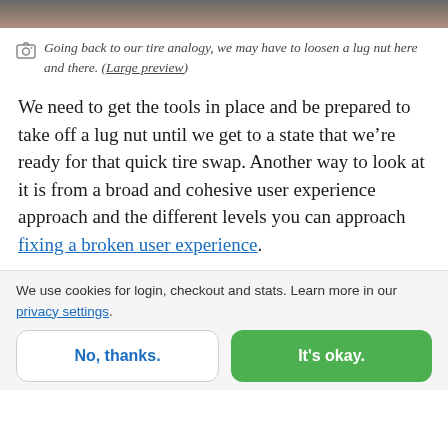[Figure (photo): Cropped photo strip at the top of the page showing a partial image, predominantly dark tones]
Going back to our tire analogy, we may have to loosen a lug nut here and there. (Large preview)
We need to get the tools in place and be prepared to take off a lug nut until we get to a state that we’re ready for that quick tire swap. Another way to look at it is from a broad and cohesive user experience approach and the different levels you can approach fixing a broken user experience.
We use cookies for login, checkout and stats. Learn more in our privacy settings.